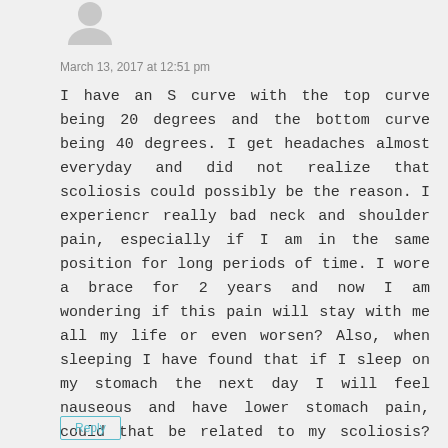[Figure (illustration): Gray avatar/profile icon silhouette of a person]
March 13, 2017 at 12:51 pm
I have an S curve with the top curve being 20 degrees and the bottom curve being 40 degrees. I get headaches almost everyday and did not realize that scoliosis could possibly be the reason. I experiencr really bad neck and shoulder pain, especially if I am in the same position for long periods of time. I wore a brace for 2 years and now I am wondering if this pain will stay with me all my life or even worsen? Also, when sleeping I have found that if I sleep on my stomach the next day I will feel nauseous and have lower stomach pain, could that be related to my scoliosis? Thank you.
Reply